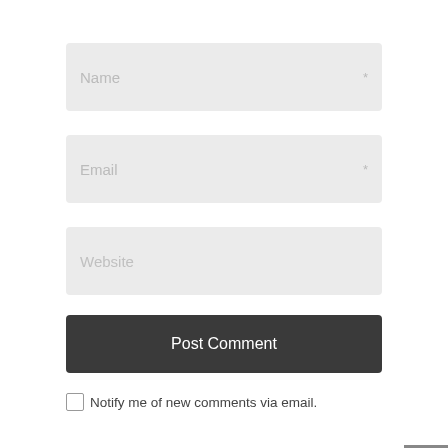[Figure (screenshot): Comment form with textarea (partially visible at top), Name input field, Email input field, Website input field, Post Comment button, and two checkbox options for email notifications]
Name *
Email *
Website
Post Comment
Notify me of new comments via email.
Notify me of new posts via email.